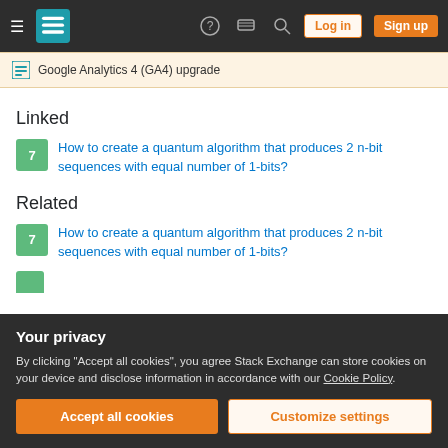Stack Exchange navigation bar with hamburger menu, logo, help, chat, search icons, Log in and Sign up buttons
Google Analytics 4 (GA4) upgrade
Linked
7  How to create a quantum algorithm that produces 2 n-bit sequences with equal number of 1-bits?
Related
7  How to create a quantum algorithm that produces 2 n-bit sequences with equal number of 1-bits?
Your privacy
By clicking "Accept all cookies", you agree Stack Exchange can store cookies on your device and disclose information in accordance with our Cookie Policy.
Accept all cookies  Customize settings
4  Is the intuition of quantum parallelism always correct?